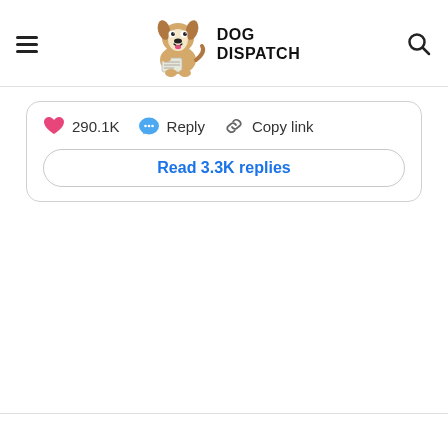[Figure (logo): Dog Dispatch logo with cartoon dog holding a newspaper and bold text 'DOG DISPATCH']
290.1K
Reply
Copy link
Read 3.3K replies